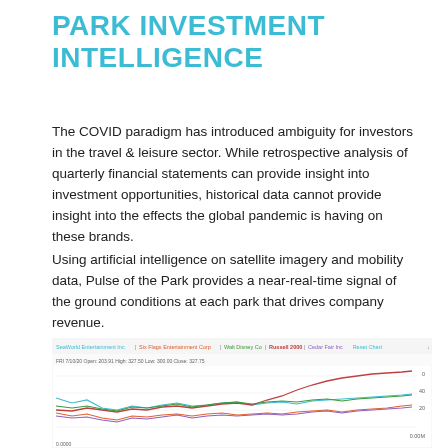PARK INVESTMENT INTELLIGENCE
The COVID paradigm has introduced ambiguity for investors in the travel & leisure sector. While retrospective analysis of quarterly financial statements can provide insight into investment opportunities, historical data cannot provide insight into the effects the global pandemic is having on these brands.
Using artificial intelligence on satellite imagery and mobility data, Pulse of the Park provides a near-real-time signal of the ground conditions at each park that drives company revenue.
[Figure (line-chart): Stock chart showing multiple company lines including SeaWorld Entertainment Inc, Six Flags Entertainment Corp, Walt Disney Co, Russell 2000, and Cedar Fair Inc. Chart shows price trends with one line rising sharply toward the right side of the chart.]